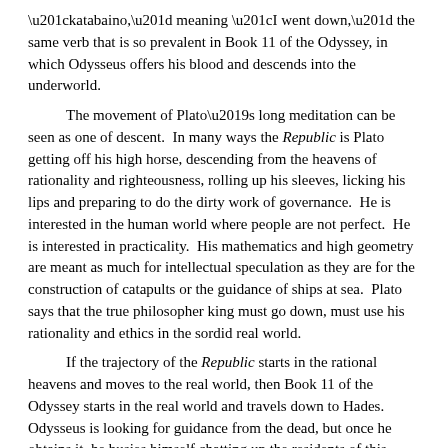“katabaino,” meaning “I went down,” the same verb that is so prevalent in Book 11 of the Odyssey, in which Odysseus offers his blood and descends into the underworld.
The movement of Plato’s long meditation can be seen as one of descent. In many ways the Republic is Plato getting off his high horse, descending from the heavens of rationality and righteousness, rolling up his sleeves, licking his lips and preparing to do the dirty work of governance. He is interested in the human world where people are not perfect. He is interested in practicality. His mathematics and high geometry are meant as much for intellectual speculation as they are for the construction of catapults or the guidance of ships at sea. Plato says that the true philosopher king must go down, must use his rationality and ethics in the sordid real world.
If the trajectory of the Republic starts in the rational heavens and moves to the real world, then Book 11 of the Odyssey starts in the real world and travels down to Hades. Odysseus is looking for guidance from the dead, but once he obtains it, he busies himself chatting up the residents of this strange land. He